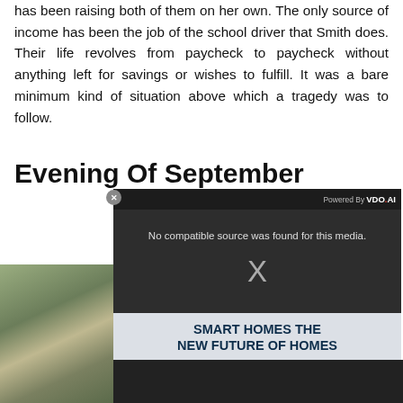has been raising both of them on her own. The only source of income has been the job of the school driver that Smith does. Their life revolves from paycheck to paycheck without anything left for savings or wishes to fulfill. It was a bare minimum kind of situation above which a tragedy was to follow.
Evening Of September
[Figure (screenshot): Advertisement overlay with VDO.AI branding, showing a video player with 'No compatible source was found for this media.' message and X close icon. Below is a banner reading 'SMART HOMES THE NEW FUTURE OF HOMES'. A photo of a house exterior is partially visible on the left.]